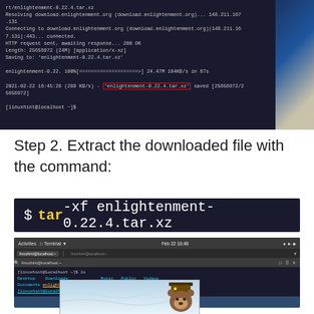[Figure (screenshot): Terminal window showing wget download of enlightenment-0.22.4.tar.xz with highlighted filename in red box]
Step 2. Extract the downloaded file with the command:
[Figure (screenshot): Code block showing: $ tar -xf enlightenment-0.22.4.tar.xz]
[Figure (screenshot): Terminal window showing ls output with enlightenment-0.22.4.tar.xz highlighted and tar command running]
[Figure (screenshot): Partial screenshot showing Smokey Bear security mascot icon]